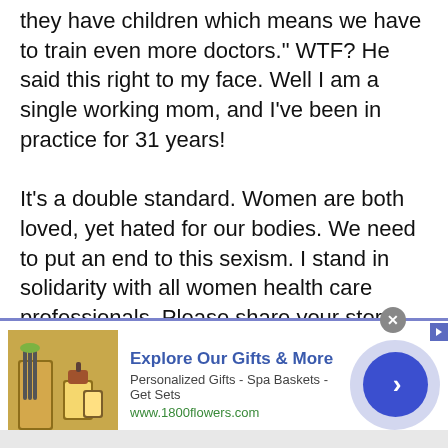they have children which means we have to train even more doctors." WTF? He said this right to my face. Well I am a single working mom, and I've been in practice for 31 years!

It's a double standard. Women are both loved, yet hated for our bodies. We need to put an end to this sexism. I stand in solidarity with all women health care professionals. Please share your story.
view all 84 comments
hollywoodeyes
Report
Final score:113
[Figure (other): Advertisement banner for 1800flowers.com showing gift products, spa baskets. Text: Explore Our Gifts & More. Personalized Gifts - Spa Baskets - Get Sets. www.1800flowers.com]